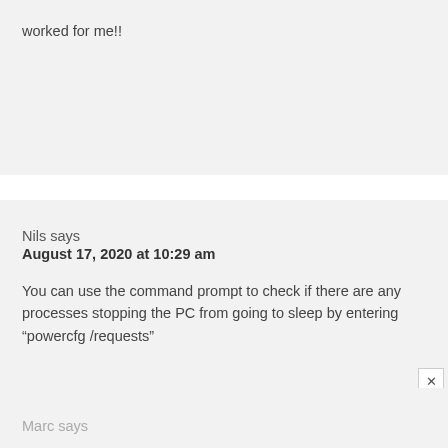worked for me!!
Nils says
August 17, 2020 at 10:29 am

You can use the command prompt to check if there are any processes stopping the PC from going to sleep by entering “powercfg /requests”
Marc says